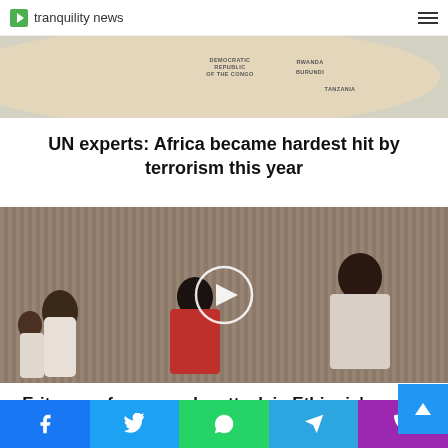tranquility news
[Figure (map): Map of Africa showing Democratic Republic of the Congo, Rwanda, Burundi, Tanzania region]
UN experts: Africa became hardest hit by terrorism this year
[Figure (photo): Video thumbnail showing Eritrean refugee women and children with a play button overlay]
Eritrean refugees under attack in Ethiopia's Tigray war